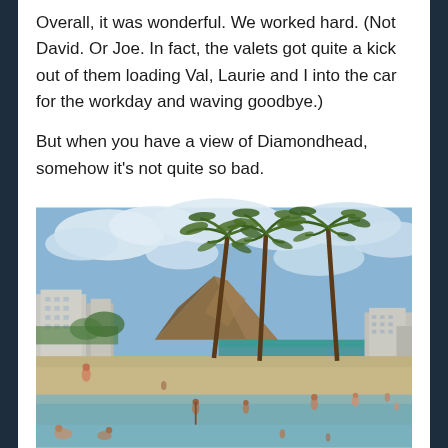Overall, it was wonderful. We worked hard. (Not David. Or Joe. In fact, the valets got quite a kick out of them loading Val, Laurie and I into the car for the workday and waving goodbye.)
But when you have a view of Diamondhead, somehow it's not quite so bad.
[Figure (photo): Beach scene with Diamond Head crater in the background, palm trees in the foreground, people on the beach and in shallow water, hotel buildings on the left, cloudy blue sky.]